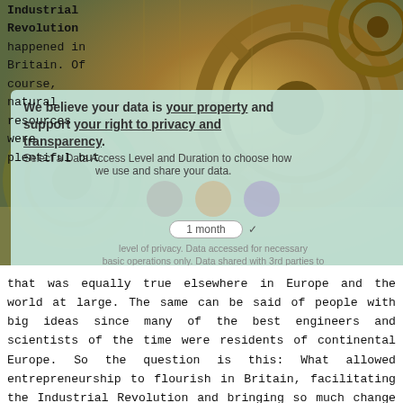[Figure (photo): Gears/cog machinery photograph in sepia/golden tones at the top of the page, partially overlaid by a GDPR privacy consent panel]
Industrial Revolution happened in Britain. Of course, natural resources were plentiful but that was equally true elsewhere in Europe and the world at large. The same can be said of people with big ideas since many of the best engineers and scientists of the time were residents of continental Europe. So the question is this: What allowed entrepreneurship to flourish in Britain, facilitating the Industrial Revolution and bringing so much change and progress to the world?
In some ways the industrial revolution can be seen as the birth place of modern entrepreneurship – when smart ideas could translate into large scale businesses over relatively short periods. The differentiating factors that enabled the revolution in Britain were simple. The British, more so than their European counterparts, believed in the rights of the individual to create wealth; and there was a legal system that backed up those